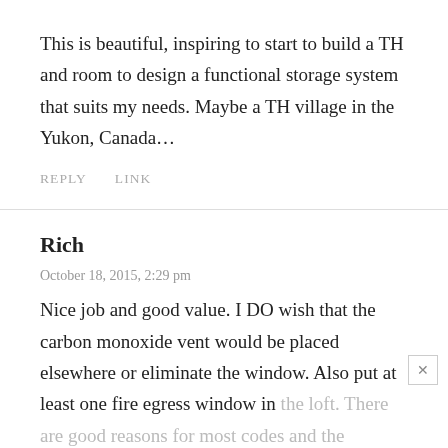This is beautiful, inspiring to start to build a TH and room to design a functional storage system that suits my needs. Maybe a TH village in the Yukon, Canada…
REPLY   LINK
Rich
October 18, 2015, 2:29 pm
Nice job and good value. I DO wish that the carbon monoxide vent would be placed elsewhere or eliminate the window. Also put at least one fire egress window in the loft. There are good reasons for most codes and the inspectors might grant an occupancy permit in spite of it